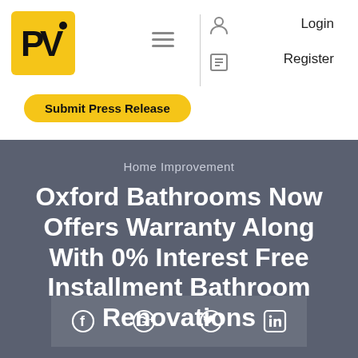[Figure (logo): PV logo — black letters PV on yellow rounded square background]
[Figure (infographic): Navigation bar with hamburger menu icon, user account icon, register icon, Login and Register text links]
Submit Press Release
Home Improvement
Oxford Bathrooms Now Offers Warranty Along With 0% Interest Free Installment Bathroom Renovations
[Figure (infographic): Social media share buttons: Facebook, Google+, Twitter, LinkedIn]